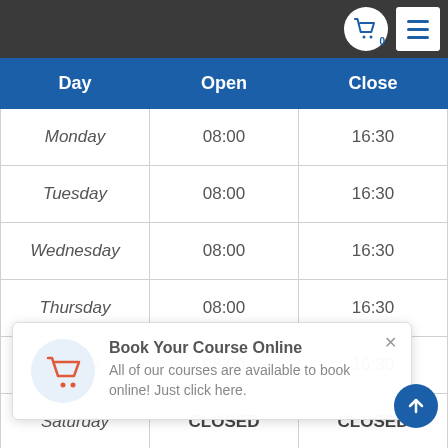| Day | Open | Close |
| --- | --- | --- |
| Monday | 08:00 | 16:30 |
| Tuesday | 08:00 | 16:30 |
| Wednesday | 08:00 | 16:30 |
| Thursday | 08:00 | 16:30 |
| Friday | 08:00 | 16:30 |
| Saturday | CLOSED | CLOSED |
| Sunday | CLOSED | CLOSED |
Book Your Course Online
All of our courses are available to book online! Just click here.